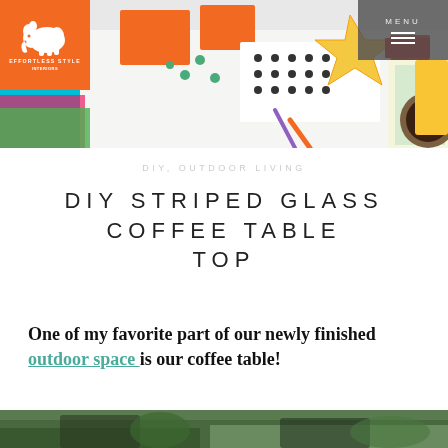[Figure (photo): Colorful flat lay of craft supplies, orange boxes, polka-dot fabric, scissors, star shapes, and colorful papers on a white background. Effortless Style Interiors logo with orange elephant in top left. Dark menu button in top right.]
DIY, OUTDOOR LIVING
DIY STRIPED GLASS COFFEE TABLE TOP
One of my favorite part of our newly finished outdoor space is our coffee table!
[Figure (photo): Bottom strip of an outdoor/garden photo, partially visible.]